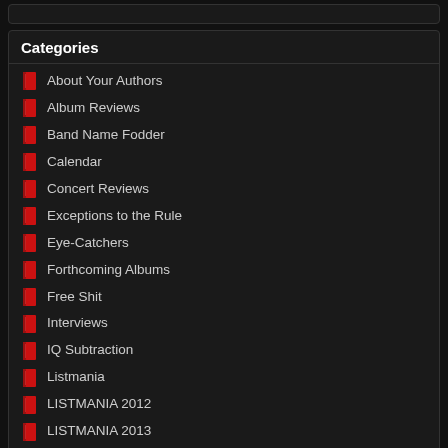Categories
About Your Authors
Album Reviews
Band Name Fodder
Calendar
Concert Reviews
Exceptions to the Rule
Eye-Catchers
Forthcoming Albums
Free Shit
Interviews
IQ Subtraction
Listmania
LISTMANIA 2012
LISTMANIA 2013
LISTMANIA 2014
LISTMANIA 2015
LISTMANIA 2016
LISTMANIA 2017